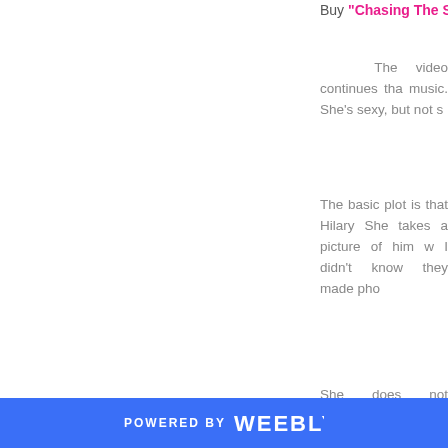Buy "Chasing The S..."
The video continues tha... music. She's sexy, but not s...
The basic plot is that Hilary... She takes a picture of him w... I didn't know they made pho...
She does not however app... vinyl (?) titled Hit Harder (T... dance sequence with her g... the city for him in a gold Me... know. But, of course they d... go on a first date.
POWERED BY weebly